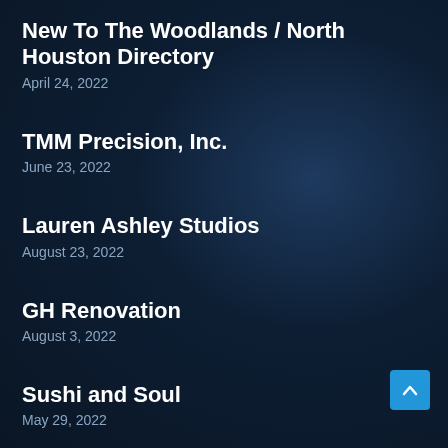New To The Woodlands / North Houston Directory
April 24, 2022
TMM Precision, Inc.
June 23, 2022
Lauren Ashley Studios
August 23, 2022
GH Renovation
August 3, 2022
Sushi and Soul
May 29, 2022